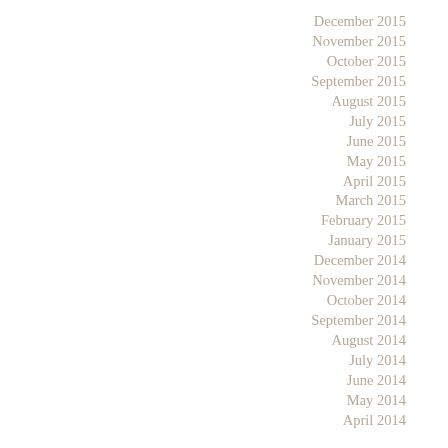December 2015
November 2015
October 2015
September 2015
August 2015
July 2015
June 2015
May 2015
April 2015
March 2015
February 2015
January 2015
December 2014
November 2014
October 2014
September 2014
August 2014
July 2014
June 2014
May 2014
April 2014